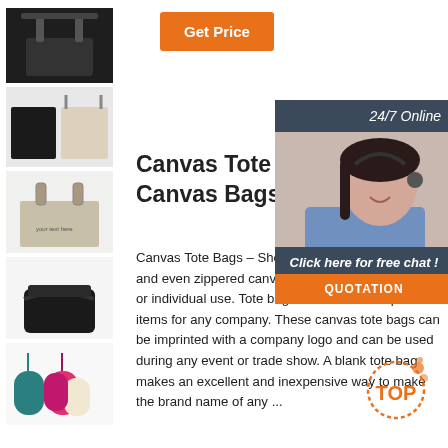[Figure (photo): Thumbnail of dark/black canvas tote bag with handles]
[Figure (photo): Thumbnail of black and cream canvas tote bag]
[Figure (photo): Thumbnail of beige canvas tote bag with rope handles and text]
[Figure (photo): Thumbnail of pleated black fabric bag]
[Figure (photo): Thumbnail of colorful small drawstring bags in teal, pink, white]
Get Price
[Figure (photo): Customer support agent with headset, 24/7 Online chat widget overlay]
Canvas Tote Bags – Canvas Bags In Bu
Canvas Tote Bags – Shop ou bags, canvas totes, and even zippered canvas tote bag for promotional or individual use. Tote bags make excellent pro items for any company. These canvas tote bags can be imprinted with a company logo and can be used during any event or trade show. A blank tote bag makes an excellent and inexpensive way to make the brand name of any ...